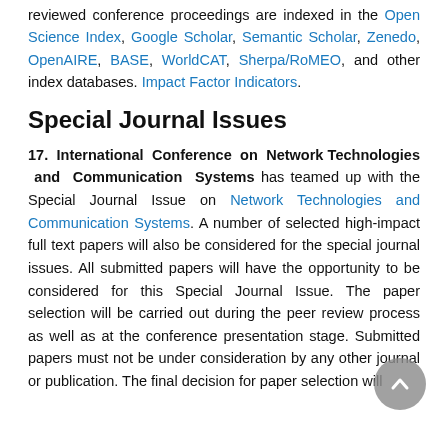reviewed conference proceedings are indexed in the Open Science Index, Google Scholar, Semantic Scholar, Zenedo, OpenAIRE, BASE, WorldCAT, Sherpa/RoMEO, and other index databases. Impact Factor Indicators.
Special Journal Issues
17. International Conference on Network Technologies and Communication Systems has teamed up with the Special Journal Issue on Network Technologies and Communication Systems. A number of selected high-impact full text papers will also be considered for the special journal issues. All submitted papers will have the opportunity to be considered for this Special Journal Issue. The paper selection will be carried out during the peer review process as well as at the conference presentation stage. Submitted papers must not be under consideration by any other journal or publication. The final decision for paper selection will